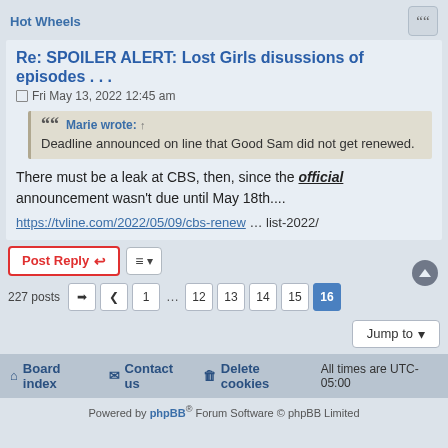Hot Wheels
Re: SPOILER ALERT: Lost Girls disussions of episodes . . .
Fri May 13, 2022 12:45 am
Marie wrote: ↑
Deadline announced on line that Good Sam did not get renewed.
There must be a leak at CBS, then, since the official announcement wasn't due until May 18th....
https://tvline.com/2022/05/09/cbs-renew ... list-2022/
Post Reply  |  227 posts  1 ... 12 13 14 15 16
Jump to
Board index   Contact us   Delete cookies   All times are UTC-05:00
Powered by phpBB® Forum Software © phpBB Limited